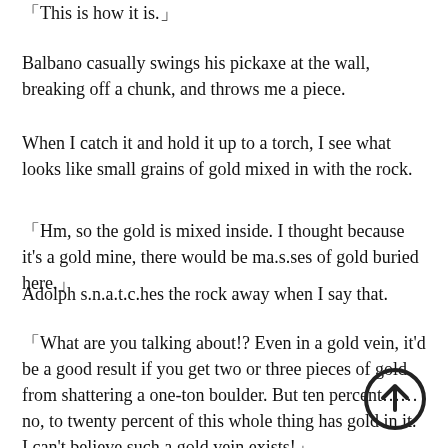「This is how it is.」
Balbano casually swings his pickaxe at the wall, breaking off a chunk, and throws me a piece.
When I catch it and hold it up to a torch, I see what looks like small grains of gold mixed in with the rock.
「Hm, so the gold is mixed inside. I thought because it's a gold mine, there would be ma.s.ses of gold buried here.」
Adolph s.n.a.t.c.hes the rock away when I say that.
「What are you talking about!? Even in a gold vein, it'd be a good result if you get two or three pieces of gold from shattering a one-ton boulder. But ten percent……no, to twenty percent of this whole thing has gold in it. I can't believe such a gold vein exists!」
[Figure (other): A circular scroll-up navigation icon with an upward arrow]